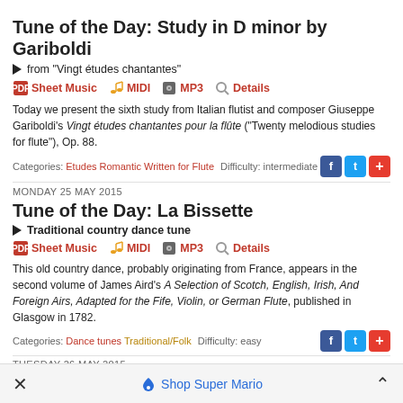Tune of the Day: Study in D minor by Gariboldi
▶ from "Vingt études chantantes"
Sheet Music  MIDI  MP3  Details
Today we present the sixth study from Italian flutist and composer Giuseppe Gariboldi's Vingt études chantantes pour la flûte ("Twenty melodious studies for flute"), Op. 88.
Categories: Etudes  Romantic  Written for Flute   Difficulty: intermediate
MONDAY 25 MAY 2015
Tune of the Day: La Bissette
▶ Traditional country dance tune
Sheet Music  MIDI  MP3  Details
This old country dance, probably originating from France, appears in the second volume of James Aird's A Selection of Scotch, English, Irish, And Foreign Airs, Adapted for the Fife, Violin, or German Flute, published in Glasgow in 1782.
Categories: Dance tunes  Traditional/Folk   Difficulty: easy
TUESDAY 26 MAY 2015
Tune of the Day: Les tendres Badinages
Shop Super Mario